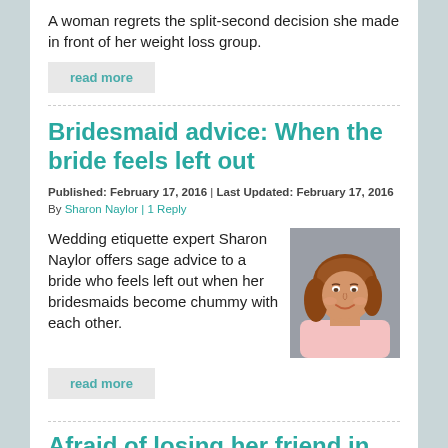A woman regrets the split-second decision she made in front of her weight loss group.
read more
Bridesmaid advice: When the bride feels left out
Published: February 17, 2016 | Last Updated: February 17, 2016 By Sharon Naylor | 1 Reply
Wedding etiquette expert Sharon Naylor offers sage advice to a bride who feels left out when her bridesmaids become chummy with each other.
[Figure (photo): Portrait photo of a young woman with reddish-brown shoulder-length hair, smiling, wearing a light pink top, against a grey background.]
read more
Afraid of losing her friend in India